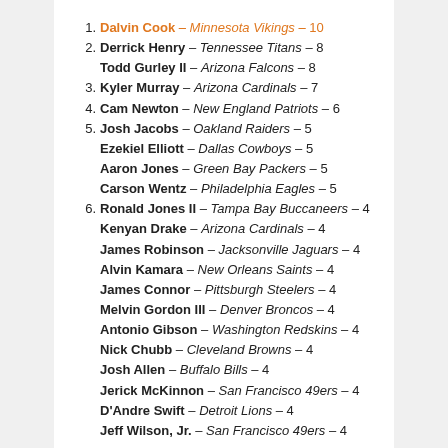1. Dalvin Cook – Minnesota Vikings – 10
2. Derrick Henry – Tennessee Titans – 8
Todd Gurley II – Arizona Falcons – 8
3. Kyler Murray – Arizona Cardinals – 7
4. Cam Newton – New England Patriots – 6
5. Josh Jacobs – Oakland Raiders – 5
Ezekiel Elliott – Dallas Cowboys – 5
Aaron Jones – Green Bay Packers – 5
Carson Wentz – Philadelphia Eagles – 5
6. Ronald Jones II – Tampa Bay Buccaneers – 4
Kenyan Drake – Arizona Cardinals – 4
James Robinson – Jacksonville Jaguars – 4
Alvin Kamara – New Orleans Saints – 4
James Connor – Pittsburgh Steelers – 4
Melvin Gordon III – Denver Broncos – 4
Antonio Gibson – Washington Redskins – 4
Nick Chubb – Cleveland Browns – 4
Josh Allen – Buffalo Bills – 4
Jerick McKinnon – San Francisco 49ers – 4
D'Andre Swift – Detroit Lions – 4
Jeff Wilson, Jr. – San Francisco 49ers – 4